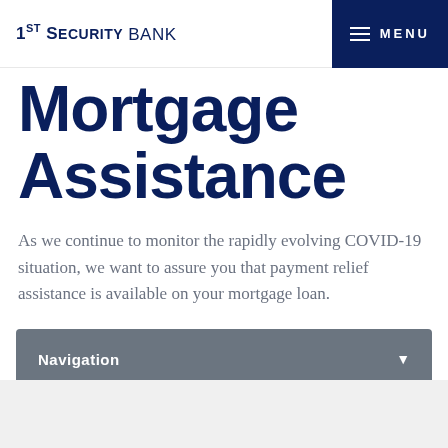1ST SECURITY BANK  MENU
Mortgage Assistance
As we continue to monitor the rapidly evolving COVID-19 situation, we want to assure you that payment relief assistance is available on your mortgage loan.
Navigation